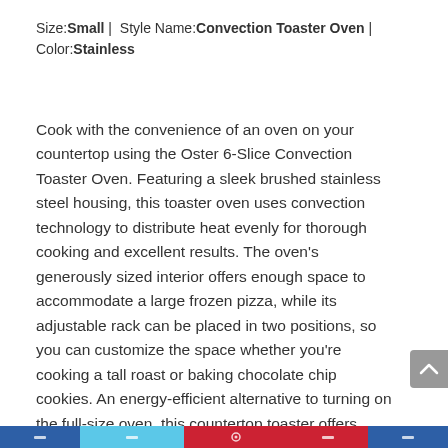Size:Small | Style Name:Convection Toaster Oven | Color:Stainless
Cook with the convenience of an oven on your countertop using the Oster 6-Slice Convection Toaster Oven. Featuring a sleek brushed stainless steel housing, this toaster oven uses convection technology to distribute heat evenly for thorough cooking and excellent results. The oven's generously sized interior offers enough space to accommodate a large frozen pizza, while its adjustable rack can be placed in two positions, so you can customize the space whether you're cooking a tall roast or baking chocolate chip cookies. An energy-efficient alternative to turning on the full-size oven, this countertop toaster offers three user-friendly control dials for selecting the cooking function, adjusting the temperature to up to 450